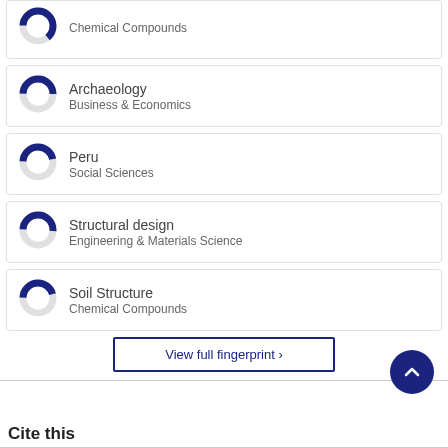Chemical Compounds
Archaeology
Business & Economics
Peru
Social Sciences
Structural design
Engineering & Materials Science
Soil Structure
Chemical Compounds
View full fingerprint ›
Cite this